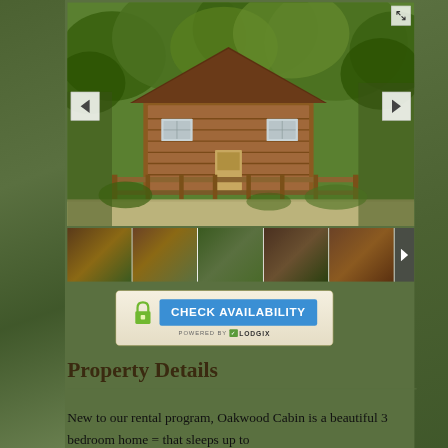[Figure (photo): Exterior photo of Oakwood Cabin, a log cabin with wooden deck surrounded by trees and green foliage]
[Figure (photo): Thumbnail strip showing 5 smaller photos of the cabin property]
[Figure (infographic): Check Availability button with padlock icon and Lodgix branding]
Property Details
New to our rental program, Oakwood Cabin is a beautiful 3 bedroom home = that sleeps up to